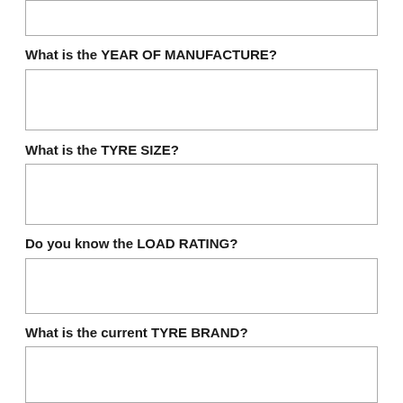[Answer box at top - partial]
What is the YEAR OF MANUFACTURE?
[Answer box]
What is the TYRE SIZE?
[Answer box]
Do you know the LOAD RATING?
[Answer box]
What is the current TYRE BRAND?
[Answer box]
[Answer box at bottom - partial]